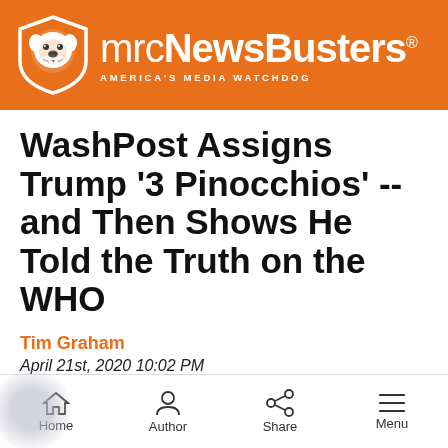mrcNewsBusters — AMERICA'S MEDIA WATCHDOG
WashPost Assigns Trump '3 Pinocchios' -- and Then Shows He Told the Truth on the WHO
Tim Graham
April 21st, 2020 10:02 PM
Text to Speech
Home  Author  Share  Menu